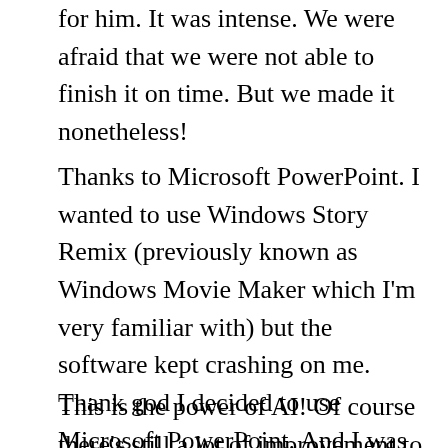for him. It was intense. We were afraid that we were not able to finish it on time. But we made it nonetheless!
Thanks to Microsoft PowerPoint. I wanted to use Windows Story Remix (previously known as Windows Movie Maker which I'm very familiar with) but the software kept crashing on me. Thank god I decided to use Microsoft PowerPoint. And I was really blown by the advancement in Microsoft's Office Intelligence service. I could easily insert 5 pictures on 1 slide and Microsoft PowerPoint would recommend a few designs! I didn't need to arrange the pictures myself to make a collage. It also recommended how I can position the title of each slide. Very very impressive.
This is the power of AI! Of course there's still a lot of improvement to be made – for example, it doesn't